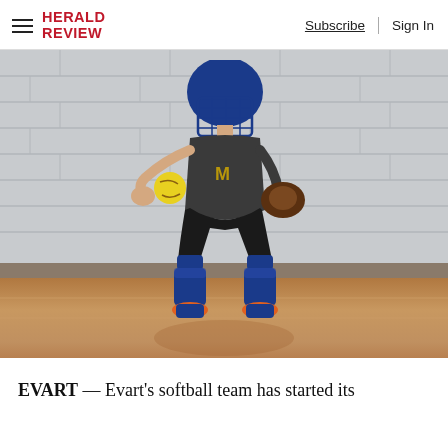HERALD REVIEW | Subscribe | Sign In
[Figure (photo): A softball catcher in full blue gear — blue helmet with face mask, blue knee/shin guards, and a catcher's mitt — crouching in ready position on an indoor gymnasium basketball court floor, reaching out to catch a yellow softball. The player wears a dark gray t-shirt and orange shoes.]
EVART — Evart's softball team has started its